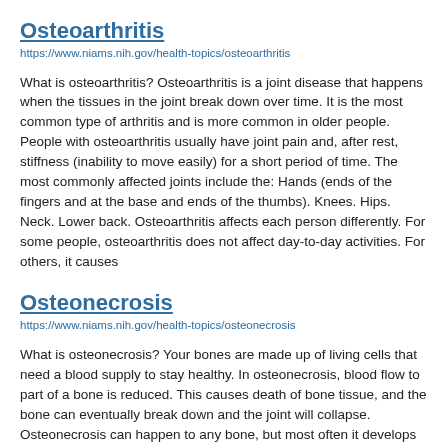Osteoarthritis
https://www.niams.nih.gov/health-topics/osteoarthritis
What is osteoarthritis? Osteoarthritis is a joint disease that happens when the tissues in the joint break down over time. It is the most common type of arthritis and is more common in older people. People with osteoarthritis usually have joint pain and, after rest, stiffness (inability to move easily) for a short period of time. The most commonly affected joints include the: Hands (ends of the fingers and at the base and ends of the thumbs). Knees. Hips. Neck. Lower back. Osteoarthritis affects each person differently. For some people, osteoarthritis does not affect day-to-day activities. For others, it causes
Osteonecrosis
https://www.niams.nih.gov/health-topics/osteonecrosis
What is osteonecrosis? Your bones are made up of living cells that need a blood supply to stay healthy. In osteonecrosis, blood flow to part of a bone is reduced. This causes death of bone tissue, and the bone can eventually break down and the joint will collapse. Osteonecrosis can happen to any bone, but most often it develops in the ends of long bones, such as the: Thigh bone. Upper arm bone. Less often, the bones of the elbows, ankles, feet, wrists, and